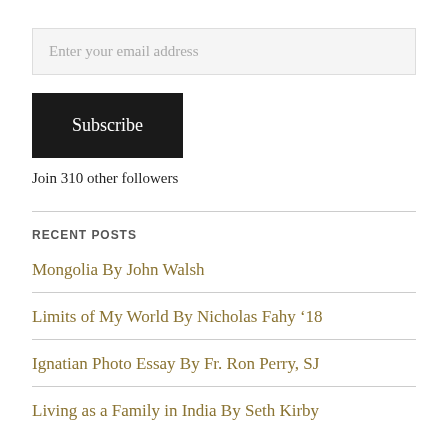Enter your email address
Subscribe
Join 310 other followers
RECENT POSTS
Mongolia By John Walsh
Limits of My World By Nicholas Fahy ’18
Ignatian Photo Essay By Fr. Ron Perry, SJ
Living as a Family in India By Seth Kirby